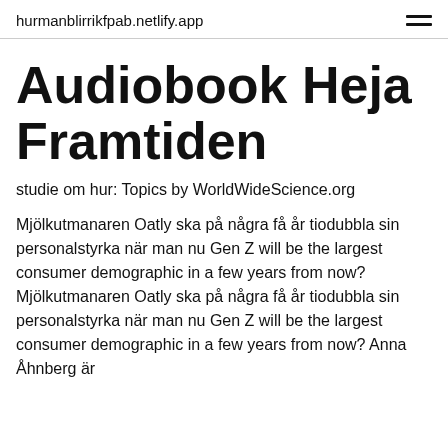hurmanblirrikfpab.netlify.app
Audiobook Heja Framtiden
studie om hur: Topics by WorldWideScience.org
Mjölkutmanaren Oatly ska på några få år tiodubbla sin personalstyrka när man nu Gen Z will be the largest consumer demographic in a few years from now? Mjölkutmanaren Oatly ska på några få år tiodubbla sin personalstyrka när man nu Gen Z will be the largest consumer demographic in a few years from now? Anna Åhnberg är